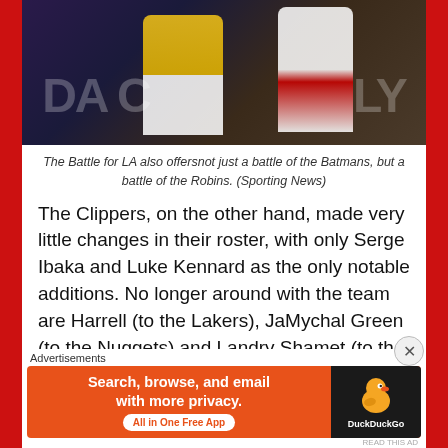[Figure (photo): Basketball action photo showing a Lakers player in yellow jersey and a Clippers player in white jersey competing on court]
The Battle for LA also offersnot just a battle of the Batmans, but a battle of the Robins. (Sporting News)
The Clippers, on the other hand, made very little changes in their roster, with only Serge Ibaka and Luke Kennard as the only notable additions. No longer around with the team are Harrell (to the Lakers), JaMychal Green (to the Nuggets) and Landry Shamet (to the Nets). The only other significant change was in the coaching staff, with Ty Lue now occupying the head coach position
Advertisements
[Figure (screenshot): DuckDuckGo advertisement banner: Search, browse, and email with more privacy. All in One Free App]